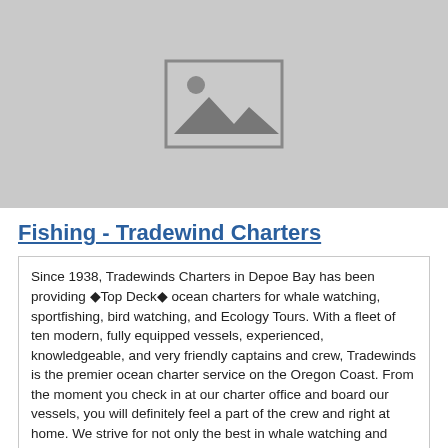[Figure (photo): Placeholder image with mountain/landscape icon on grey background]
Fishing - Tradewind Charters
Since 1938, Tradewinds Charters in Depoe Bay has been providing ◆Top Deck◆ ocean charters for whale watching, sportfishing, bird watching, and Ecology Tours. With a fleet of ten modern, fully equipped vessels, experienced, knowledgeable, and very friendly captains and crew, Tradewinds is the premier ocean charter service on the Oregon Coast. From the moment you check in at our charter office and board our vessels, you will definitely feel a part of the crew and right at home. We strive for not only the best in whale watching and fishing, but the best in fun.
Location: 118 US 101, Depoe Bay, OR 97341